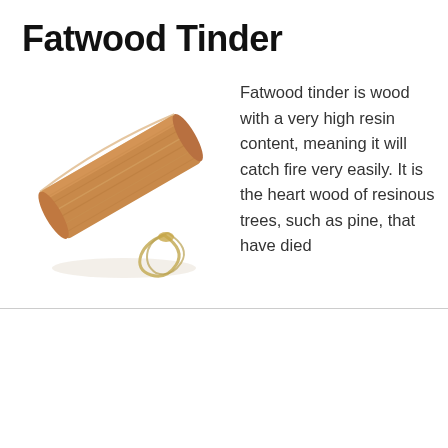Fatwood Tinder
[Figure (photo): A piece of fatwood tinder — a cylindrical log-like stick of wood with visible grain lines and a rope or twine loop attached at one end, photographed on a white background.]
Fatwood tinder is wood with a very high resin content, meaning it will catch fire very easily. It is the heart wood of resinous trees, such as pine, that have died
We use cookies on our website to give you the most relevant experience by remembering your preferences and repeat visits. By clicking “Accept”, you consent to the use of ALL the cookies.
Do not sell my personal information.